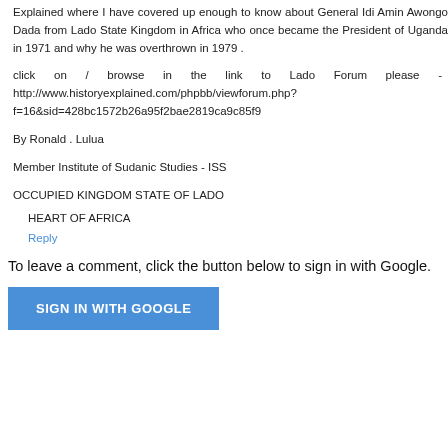Explained where I have covered up enough to know about General Idi Amin Awongo Dada from Lado State Kingdom in Africa who once became the President of Uganda in 1971 and why he was overthrown in 1979 .
click on / browse in the link to Lado Forum please - http://www.historyexplained.com/phpbb/viewforum.php?f=16&sid=428bc1572b26a95f2bae2819ca9c85f9
By Ronald . Lulua
Member Institute of Sudanic Studies - ISS
OCCUPIED KINGDOM STATE OF LADO
HEART OF AFRICA
Reply
To leave a comment, click the button below to sign in with Google.
SIGN IN WITH GOOGLE